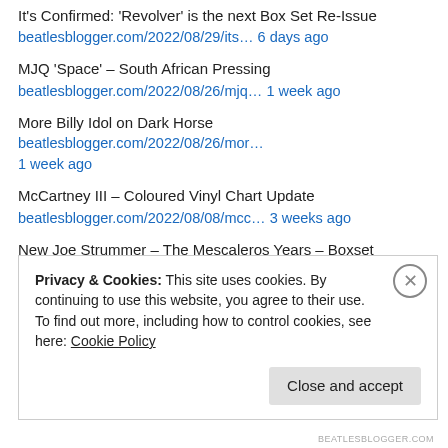It's Confirmed: 'Revolver' is the next Box Set Re-Issue beatlesblogger.com/2022/08/29/its… 6 days ago
MJQ 'Space' – South African Pressing beatlesblogger.com/2022/08/26/mjq… 1 week ago
More Billy Idol on Dark Horse beatlesblogger.com/2022/08/26/mor… 1 week ago
McCartney III – Coloured Vinyl Chart Update beatlesblogger.com/2022/08/08/mcc… 3 weeks ago
New Joe Strummer – The Mescaleros Years – Boxset Available For Pre-Order beatlesblogger.com/2022/07/30/new… 1 month ago
Privacy & Cookies: This site uses cookies. By continuing to use this website, you agree to their use. To find out more, including how to control cookies, see here: Cookie Policy
BEATLESBLOGGER.COM